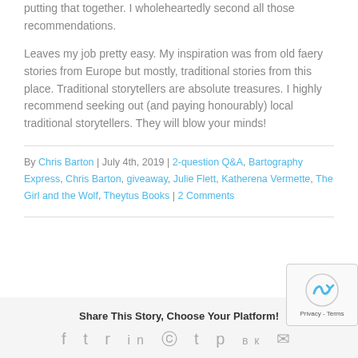putting that together. I wholeheartedly second all those recommendations.
Leaves my job pretty easy. My inspiration was from old faery stories from Europe but mostly, traditional stories from this place. Traditional storytellers are absolute treasures. I highly recommend seeking out (and paying honourably) local traditional storytellers. They will blow your minds!
By Chris Barton | July 4th, 2019 | 2-question Q&A, Bartography Express, Chris Barton, giveaway, Julie Flett, Katherena Vermette, The Girl and the Wolf, Theytus Books | 2 Comments
Share This Story, Choose Your Platform!